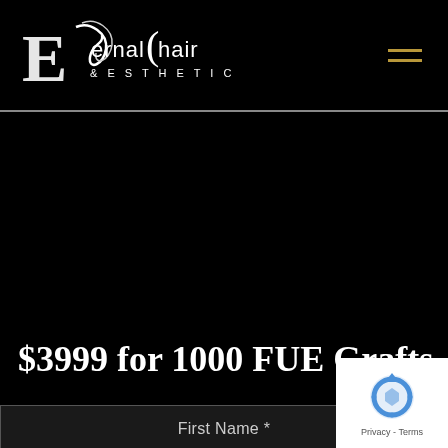[Figure (logo): Eternal Hair & Esthetics logo — stylized E with hair strand and the text 'Eternal Hair & ESTHETICS' in white on black background]
[Figure (illustration): Hamburger menu icon with two gold/yellow horizontal lines on the top-right of the header]
$3999 for 1000 FUE Grafts
First Name *
[Figure (other): Google reCAPTCHA badge with the reCAPTCHA logo and 'Privacy - Terms' text]